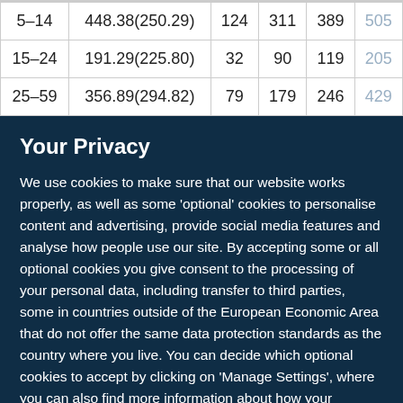| 5–14 | 448.38(250.29) | 124 | 311 | 389 | 505 |
| 15–24 | 191.29(225.80) | 32 | 90 | 119 | 205 |
| 25–59 | 356.89(294.82) | 79 | 179 | 246 | 429 |
Your Privacy
We use cookies to make sure that our website works properly, as well as some 'optional' cookies to personalise content and advertising, provide social media features and analyse how people use our site. By accepting some or all optional cookies you give consent to the processing of your personal data, including transfer to third parties, some in countries outside of the European Economic Area that do not offer the same data protection standards as the country where you live. You can decide which optional cookies to accept by clicking on 'Manage Settings', where you can also find more information about how your personal data is processed. Further information can be found in our privacy policy.
Accept all cookies
Manage preferences